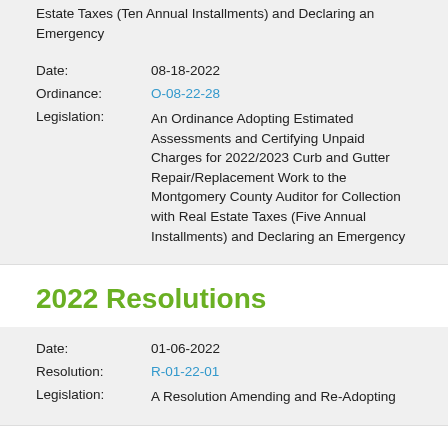Estate Taxes (Ten Annual Installments) and Declaring an Emergency
Date: 08-18-2022
Ordinance: O-08-22-28
Legislation: An Ordinance Adopting Estimated Assessments and Certifying Unpaid Charges for 2022/2023 Curb and Gutter Repair/Replacement Work to the Montgomery County Auditor for Collection with Real Estate Taxes (Five Annual Installments) and Declaring an Emergency
2022 Resolutions
Date: 01-06-2022
Resolution: R-01-22-01
Legislation: A Resolution Amending and Re-Adopting